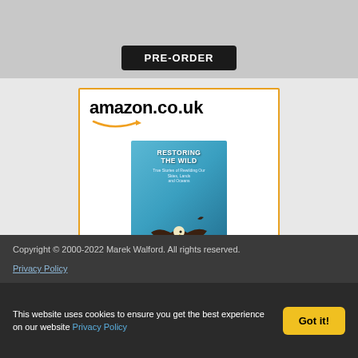[Figure (screenshot): Top gray section with PRE-ORDER button]
[Figure (screenshot): Amazon.co.uk advertisement for 'Restoring the Wild: True...' book priced at £11.97 with Prime badge and Shop now button]
Restoring the Wild: True...
£11.97
Shop now
Copyright © 2000-2022 Marek Walford. All rights reserved.
Privacy Policy
This website uses cookies to ensure you get the best experience on our website Privacy Policy